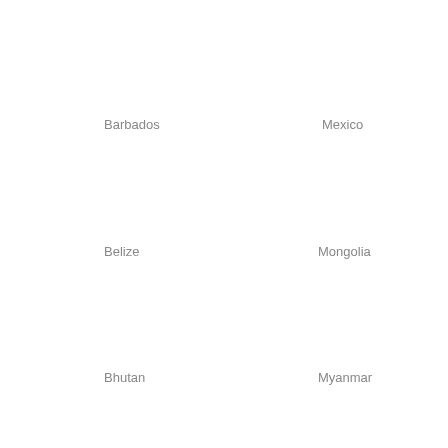Barbados
Mexico
Belize
Mongolia
Bhutan
Myanmar